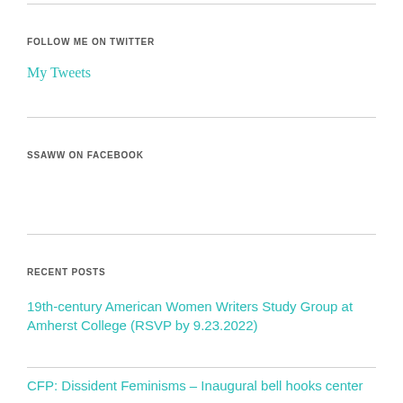FOLLOW ME ON TWITTER
My Tweets
SSAWW ON FACEBOOK
RECENT POSTS
19th-century American Women Writers Study Group at Amherst College (RSVP by 9.23.2022)
CFP: Dissident Feminisms – Inaugural bell hooks center